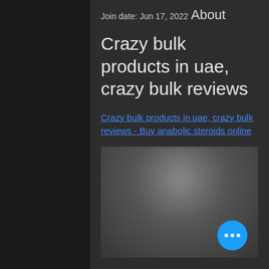Join date: Jun 17, 2022
About
Crazy bulk products in uae, crazy bulk reviews
Crazy bulk products in uae, crazy bulk reviews - Buy anabolic steroids online
[Figure (photo): Blurred/redacted product image with a blue floating action button with three dots in the bottom right corner]